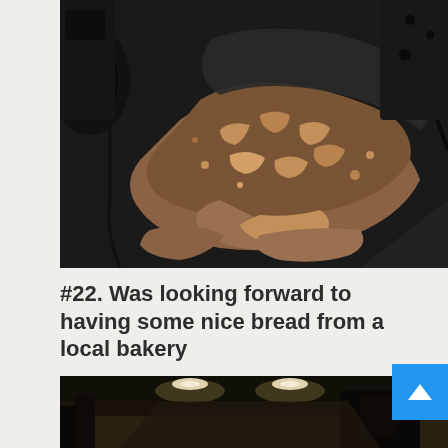[Figure (photo): Close-up photo of heavily damaged/corroded vehicle undercarriage or mechanical component, covered in brown crumbling debris and black rusted material, viewed from a low angle.]
#22. Was looking forward to having some nice bread from a local bakery
[Figure (photo): Dark interior photo, partially visible, appears to be inside a bakery or commercial kitchen with overhead lights.]